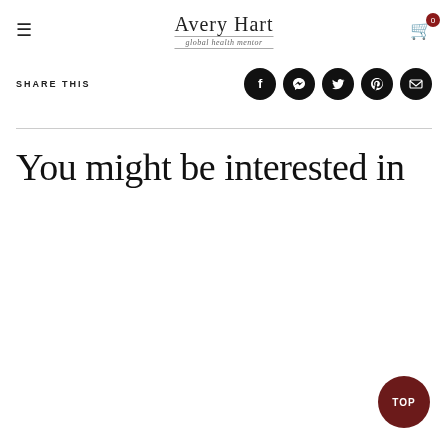Avery Hart global health mentor
SHARE THIS
[Figure (infographic): Five black circular social share buttons: Facebook, Messenger, Twitter, Pinterest, Email]
You might be interested in
TOP